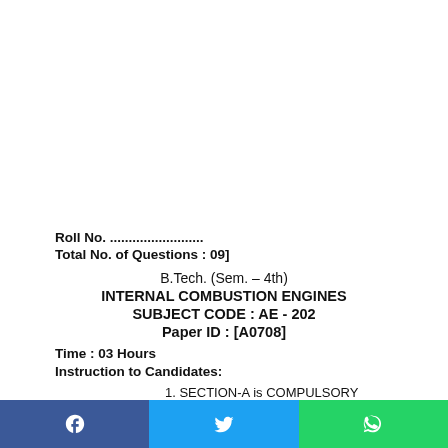Roll No. .........................
Total No. of Questions : 09]
B.Tech. (Sem. – 4th)
INTERNAL COMBUSTION ENGINES
SUBJECT CODE : AE - 202
Paper ID : [A0708]
Time : 03 Hours
Instruction to Candidates:
1. SECTION-A is COMPULSORY consisting of TEN questions carrying TWO marks each.
2. SECTION-B contains FIVE questions carrying FIVE marks